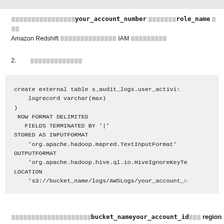[placeholder chars]your_account_number [placeholder chars]role_name [placeholder chars] Amazon Redshift [placeholder chars] IAM [placeholder chars]
2. [link text placeholder]
create external table s_audit_logs.user_activi...
    logrecord varchar(max)
)
 ROW FORMAT DELIMITED
   FIELDS TERMINATED BY '|'
STORED AS INPUTFORMAT
    'org.apache.hadoop.mapred.TextInputFormat'
OUTPUTFORMAT
    'org.apache.hadoop.hive.ql.io.HiveIgnoreKeyTe...
LOCATION
    's3://bucket_name/logs/AWSLogs/your_account_...'
[placeholder chars]bucket_name, your_account_id[placeholder chars] region